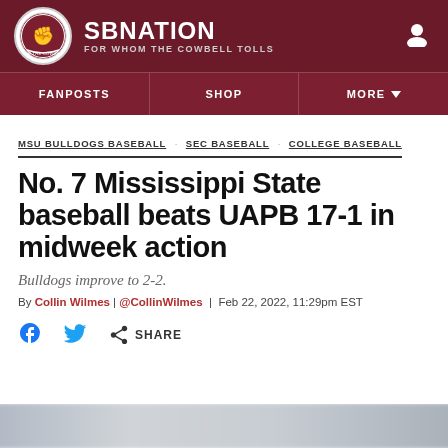SBNATION | FOR WHOM THE COWBELL TOLLS
FANPOSTS  SHOP  MORE
MSU BULLDOGS BASEBALL  SEC BASEBALL  COLLEGE BASEBALL
No. 7 Mississippi State baseball beats UAPB 17-1 in midweek action
Bulldogs improve to 2-2.
By Collin Wilmes | @CollinWilmes | Feb 22, 2022, 11:29pm EST
[Figure (other): Social share icons: Facebook, Twitter, and generic share button with SHARE label]
[Figure (photo): Blurred photo at bottom of page, partially visible, appears to be a sports/baseball related image]